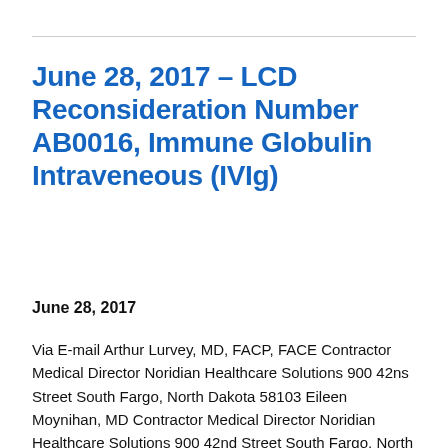June 28, 2017 – LCD Reconsideration Number AB0016, Immune Globulin Intraveneous (IVIg)
June 28, 2017
Via E-mail Arthur Lurvey, MD, FACP, FACE Contractor Medical Director Noridian Healthcare Solutions 900 42ns Street South Fargo, North Dakota 58103 Eileen Moynihan, MD Contractor Medical Director Noridian Healthcare Solutions 900 42nd Street South Fargo, North Dakota 58103 Dear Drs. Lurvey and Moynihan: